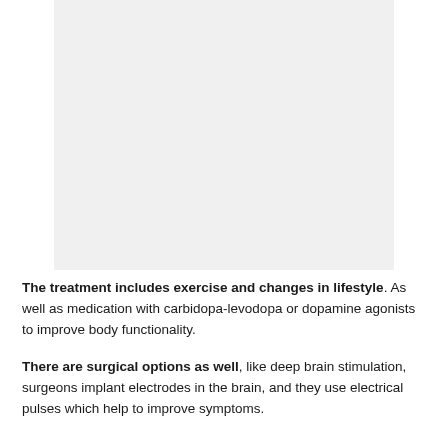[Figure (other): Gray placeholder image area at top of page]
The treatment includes exercise and changes in lifestyle. As well as medication with carbidopa-levodopa or dopamine agonists to improve body functionality.
There are surgical options as well, like deep brain stimulation, surgeons implant electrodes in the brain, and they use electrical pulses which help to improve symptoms.